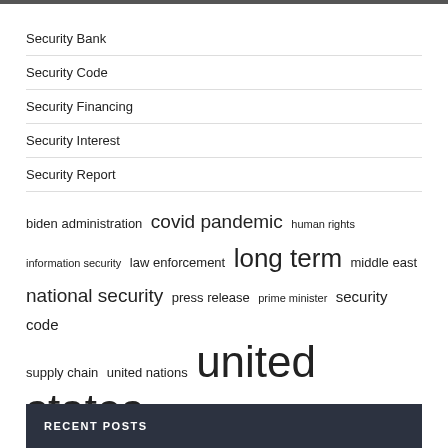Security Bank
Security Code
Security Financing
Security Interest
Security Report
[Figure (other): Tag cloud with terms of varying sizes: biden administration, covid pandemic, human rights, information security, law enforcement, long term, middle east, national security, press release, prime minister, security code, supply chain, united nations, united states (largest), vice president]
RECENT POSTS